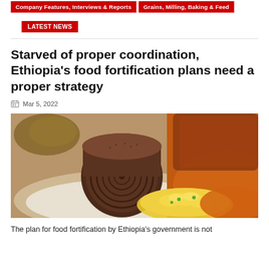Company Features, Interviews & Reports | Grains, Milling, Baking & Feed
LATEST NEWS
Starved of proper coordination, Ethiopia's food fortification plans need a proper strategy
Mar 5, 2022
[Figure (photo): Ethiopian food plate showing rolled injera (teff flatbread), scrambled eggs with peas, and stew/sauce on the side]
The plan for food fortification by Ethiopia's government is not